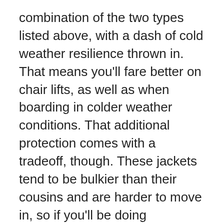combination of the two types listed above, with a dash of cold weather resilience thrown in. That means you'll fare better on chair lifts, as well as when boarding in colder weather conditions. That additional protection comes with a tradeoff, though. These jackets tend to be bulkier than their cousins and are harder to move in, so if you'll be doing something particularly athletic, you might want to consider going with a thinner jacket.
Three-in-One – Only one jacket on our list falls into this category. They are essentially modular creations and you can strip down layer by layer as you get warmer. These jackets are good options for situations in which you may get too